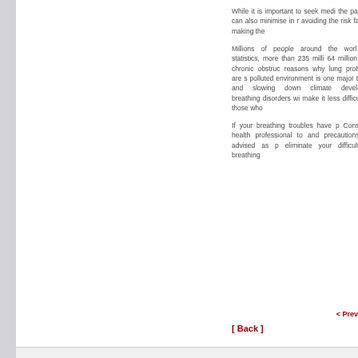While it is important to seek medi the patients can also minimise in r avoiding the risk factors making the
Millions of people around the worl few statistics, more than 235 milli 64 million from chronic obstruc reasons why lung problems are s polluted environment is one major toxins and slowing down climate developing breathing disorders wi make it less difficult for those who
If your breathing troubles have p Consult a health professional to and precautions are advised as p eliminate your difficulty in breathing
< Prev
[ Back ]
Copyright 2022 AmO: Life Beauty Without Limits....